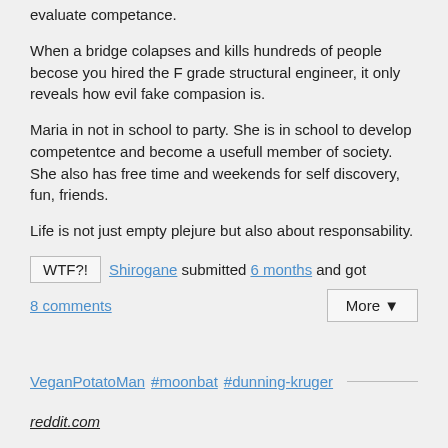evaluate competance.
When a bridge colapses and kills hundreds of people becose you hired the F grade structural engineer, it only reveals how evil fake compasion is.
Maria in not in school to party. She is in school to develop competentce and become a usefull member of society. She also has free time and weekends for self discovery, fun, friends.
Life is not just empty plejure but also about responsability.
WTF?! Shirogane submitted 6 months and got
8 comments
More ▼
VeganPotatoMan #moonbat #dunning-kruger
reddit.com